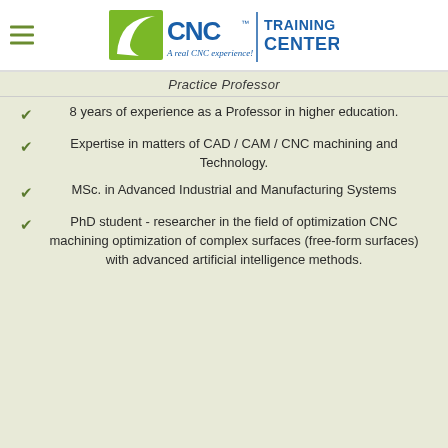CNC Training Center — A real CNC experience!
Practice Professor
8 years of experience as a Professor in higher education.
Expertise in matters of CAD / CAM / CNC machining and Technology.
MSc. in Advanced Industrial and Manufacturing Systems
PhD student - researcher in the field of optimization CNC machining optimization of complex surfaces (free-form surfaces) with advanced artificial intelligence methods.